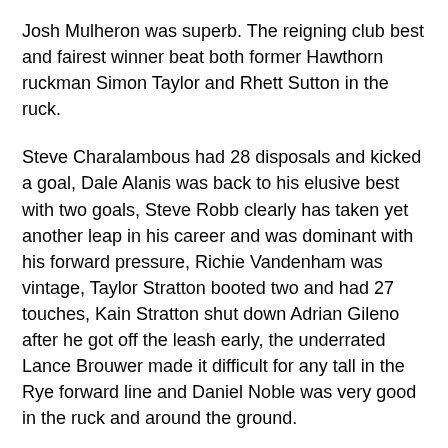Josh Mulheron was superb. The reigning club best and fairest winner beat both former Hawthorn ruckman Simon Taylor and Rhett Sutton in the ruck.
Steve Charalambous had 28 disposals and kicked a goal, Dale Alanis was back to his elusive best with two goals, Steve Robb clearly has taken yet another leap in his career and was dominant with his forward pressure, Richie Vandenham was vintage, Taylor Stratton booted two and had 27 touches, Kain Stratton shut down Adrian Gileno after he got off the leash early, the underrated Lance Brouwer made it difficult for any tall in the Rye forward line and Daniel Noble was very good in the ruck and around the ground.
Brendan Dunne was back to his best, marshalling the troops, throwing his head over the footy, laying tackles and doing the one-percenters that have made him a champion player.